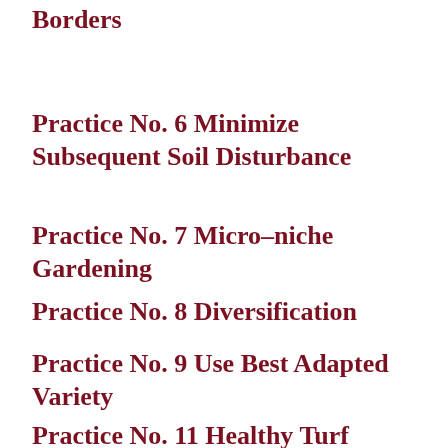Borders
Practice No. 6 Minimize Subsequent Soil Disturbance
Practice No. 7 Micro-niche Gardening
Practice No. 8 Diversification
Practice No. 9 Use Best Adapted Variety
Practice No. 11 Healthy Turf Areas